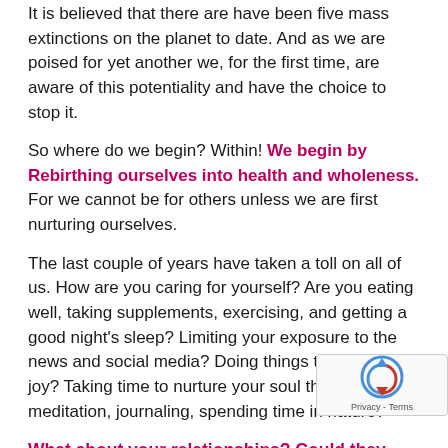It is believed that there are have been five mass extinctions on the planet to date.  And as we are poised for yet another we, for the first time, are aware of this potentiality and have the choice to stop it.
So where do we begin?  Within!  We begin by Rebirthing ourselves into health and wholeness.  For we cannot be for others unless we are first nurturing ourselves.
The last couple of years have taken a toll on all of us.  How are you caring for yourself?  Are you eating well, taking supplements, exercising, and getting a good night's sleep?  Limiting your exposure to the news and social media?  Doing things that bring you joy?  Taking time to nurture your soul through meditation, journaling, spending time in nature?
What about your relationships? Could they use some Renewal?
Yesterday, I was speaking with my integrative physic…